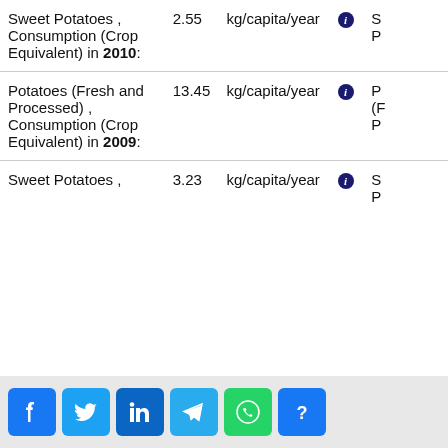| Name | Value | Unit | Info | Reference |
| --- | --- | --- | --- | --- |
| Sweet Potatoes , Consumption (Crop Equivalent) in 2010: | 2.55 | kg/capita/year | i | S P |
| Potatoes (Fresh and Processed) , Consumption (Crop Equivalent) in 2009: | 13.45 | kg/capita/year | i | P (F P |
| Sweet Potatoes , Consumption ... | 3.23 | kg/capita/year | i | S P |